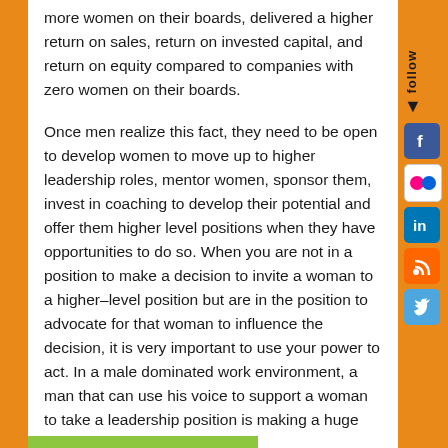more women on their boards, delivered a higher return on sales, return on invested capital, and return on equity compared to companies with zero women on their boards.

Once men realize this fact, they need to be open to develop women to move up to higher leadership roles, mentor women, sponsor them, invest in coaching to develop their potential and offer them higher level positions when they have opportunities to do so. When you are not in a position to make a decision to invite a woman to a higher–level position but are in the position to advocate for that woman to influence the decision, it is very important to use your power to act. In a male dominated work environment, a man that can use his voice to support a woman to take a leadership position is making a huge impact.